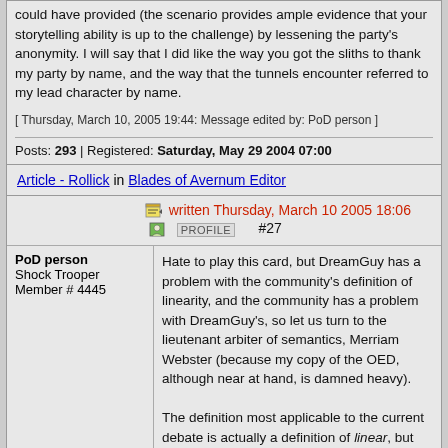could have provided (the scenario provides ample evidence that your storytelling ability is up to the challenge) by lessening the party's anonymity. I will say that I did like the way you got the sliths to thank my party by name, and the way that the tunnels encounter referred to my lead character by name.
[ Thursday, March 10, 2005 19:44: Message edited by: PoD person ]
Posts: 293 | Registered: Saturday, May 29 2004 07:00
Article - Rollick in Blades of Avernum Editor
PoD person
Shock Trooper
Member # 4445
written Thursday, March 10 2005 18:06  PROFILE  #27
Hate to play this card, but DreamGuy has a problem with the community's definition of linearity, and the community has a problem with DreamGuy's, so let us turn to the lieutenant arbiter of semantics, Merriam Webster (because my copy of the OED, although near at hand, is damned heavy).
The definition most applicable to the current debate is actually a definition of linear, but linearity is not included except